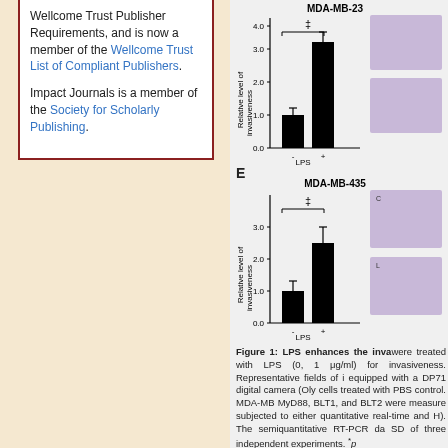Wellcome Trust Publisher Requirements, and is now a member of the Wellcome Trust List of Compliant Publishers. Impact Journals is a member of the Society for Scholarly Publishing.
[Figure (bar-chart): MDA-MB-23]
[Figure (bar-chart): MDA-MB-435]
Figure 1: LPS enhances the inva were treated with LPS (0, 1 μg/ml) for invasiveness. Representative fields of i equipped with a DP71 digital camera (Oly cells treated with PBS control. MDA-MB MyD88, BLT1, and BLT2 were measure subjected to either quantitative real-time and H). The semiquantitative RT-PCR da SD of three independent experiments. * p